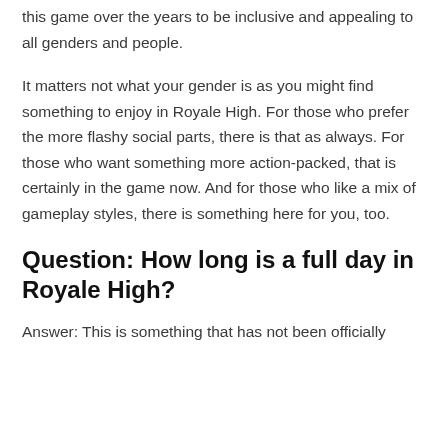this game over the years to be inclusive and appealing to all genders and people.
It matters not what your gender is as you might find something to enjoy in Royale High. For those who prefer the more flashy social parts, there is that as always. For those who want something more action-packed, that is certainly in the game now. And for those who like a mix of gameplay styles, there is something here for you, too.
Question: How long is a full day in Royale High?
Answer: This is something that has not been officially